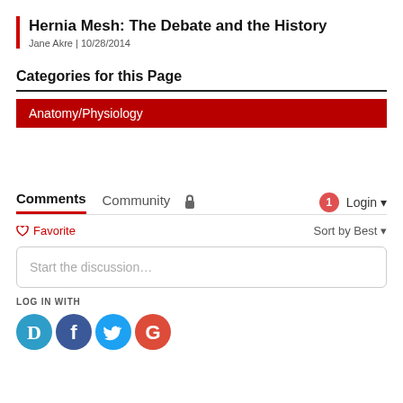Hernia Mesh: The Debate and the History
Jane Akre | 10/28/2014
Categories for this Page
Anatomy/Physiology
Comments  Community  🔒  1  Login
♡ Favorite  Sort by Best
Start the discussion...
LOG IN WITH
[Figure (logo): Social login icons: Disqus (D), Facebook (f), Twitter bird, Google (G)]